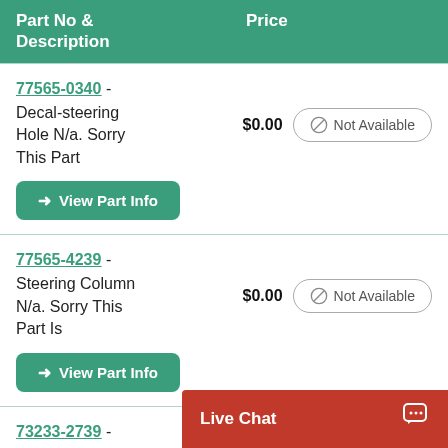| Part No & Description | Price |
| --- | --- |
| 77565-0340 - Decal-steering Hole N/a. Sorry This Part | $0.00 | Not Available |
| 77565-4239 - Steering Column N/a. Sorry This Part Is | $0.00 | Not Available |
| 73233-2739 - Steering Wheel N/a. Sorry This P... |  |  |